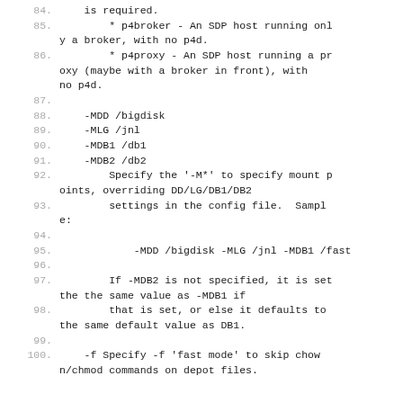84.     is required.
85.         * p4broker - An SDP host running only a broker, with no p4d.
86.         * p4proxy - An SDP host running a proxy (maybe with a broker in front), with no p4d.
87.
88.     -MDD /bigdisk
89.     -MLG /jnl
90.     -MDB1 /db1
91.     -MDB2 /db2
92.         Specify the '-M*' to specify mount points, overriding DD/LG/DB1/DB2
93.         settings in the config file.  Sample:
94.
95.             -MDD /bigdisk -MLG /jnl -MDB1 /fast
96.
97.         If -MDB2 is not specified, it is set the the same value as -MDB1 if
98.         that is set, or else it defaults to the same default value as DB1.
99.
100.    -f Specify -f 'fast mode' to skip chown/chmod commands on depot files.